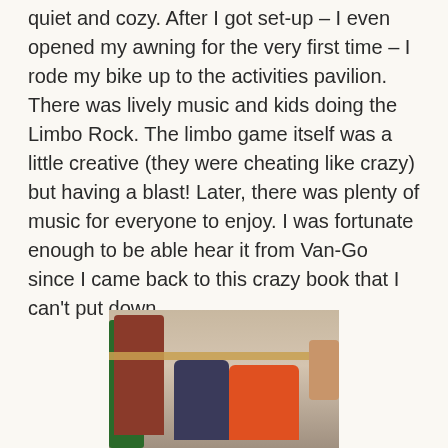quiet and cozy. After I got set-up – I even opened my awning for the very first time – I rode my bike up to the activities pavilion. There was lively music and kids doing the Limbo Rock. The limbo game itself was a little creative (they were cheating like crazy) but having a blast! Later, there was plenty of music for everyone to enjoy. I was fortunate enough to be able hear it from Van-Go since I came back to this crazy book that I can't put down.
[Figure (photo): Children playing limbo, bending under a pole held by participants, in an indoor pavilion setting.]